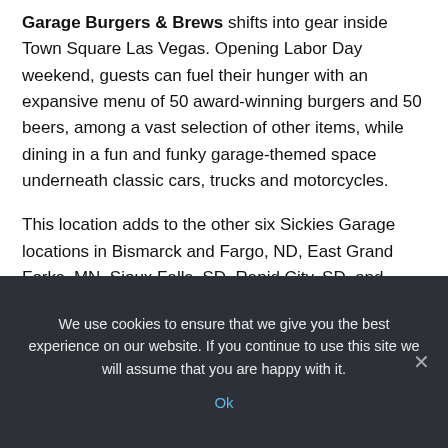Garage Burgers & Brews shifts into gear inside Town Square Las Vegas. Opening Labor Day weekend, guests can fuel their hunger with an expansive menu of 50 award-winning burgers and 50 beers, among a vast selection of other items, while dining in a fun and funky garage-themed space underneath classic cars, trucks and motorcycles.
This location adds to the other six Sickies Garage locations in Bismarck and Fargo, ND, East Grand Forks, MN, Sioux Falls, SD, Rapid City, SD, and Omaha, NE.
“The Sickies Garage experience is perfect for Vegas. An over-the-top menu in the most over-the-top city in the world!"
We use cookies to ensure that we give you the best experience on our website. If you continue to use this site we will assume that you are happy with it.
Ok